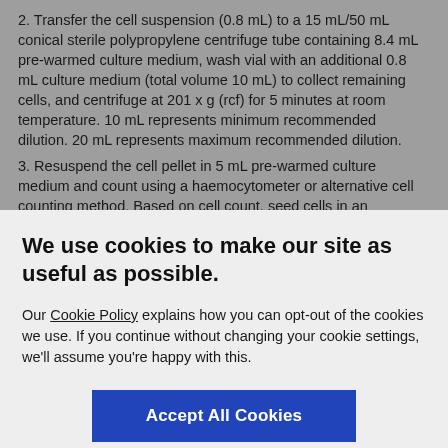2. Transfer the cell suspension (0.8 mL) to a 15 mL/50 mL conical sterile polypropylene centrifuge tube containing 8.4 mL pre-warmed culture medium, wash vial with an additional 0.8 mL culture medium (total volume 10 mL) to collect remaining cells, and centrifuge at 201 x g (rcf) for 5 minutes at room temperature. 10 mL represents minimum recommended dilution. 20 mL represents maximum recommended dilution.
3. Resuspend the cell pellet in 5 mL pre-warmed culture medium and count using a haemocytometer or alternative cell counting method. Based on cell count, seed cells in an appropriate cell culture flask at a density of 2x10³-1x10⁴ cells/cm². Seeding
We use cookies to make our site as useful as possible.
Our Cookie Policy explains how you can opt-out of the cookies we use. If you continue without changing your cookie settings, we'll assume you're happy with this.
Accept All Cookies